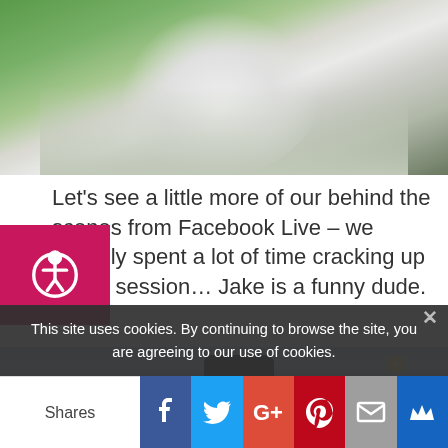[Figure (photo): Top portion of a photo showing a person in a white shirt or jacket against a green outdoor background]
Let's see a little more of our behind the scenes from Facebook Live – we actually spent a lot of time cracking up in this session…  Jake is a funny dude.
[Figure (photo): A person silhouetted against a bright sky with trees in background]
This site uses cookies. By continuing to browse the site, you are agreeing to our use of cookies.
Shares | Facebook | Twitter | Google+ | Pinterest | Email | Crown